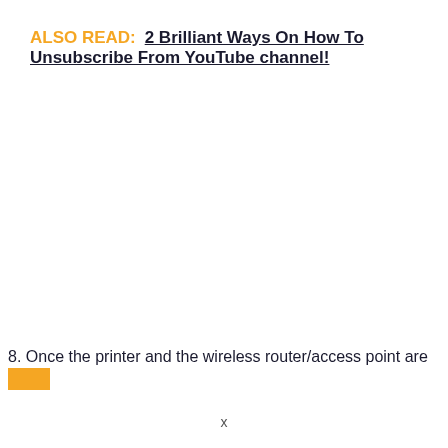ALSO READ:  2 Brilliant Ways On How To Unsubscribe From YouTube channel!
8. Once the printer and the wireless router/access point are
x